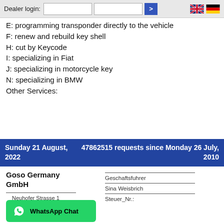Dealer login:
E: programming transponder directly to the vehicle
F: renew and rebuild key shell
H: cut by Keycode
I: specializing in Fiat
J: specializing in motorcycle key
N: specializing in BMW
Other Services:
Sunday 21 August, 2022     47862515 requests since Monday 26 July, 2010
Goso Germany GmbH
Neuhofer Strasse 1
17258 Feldberger
Geschaftsfuhrer
Sina Weisbrich
Steuer_Nr.: